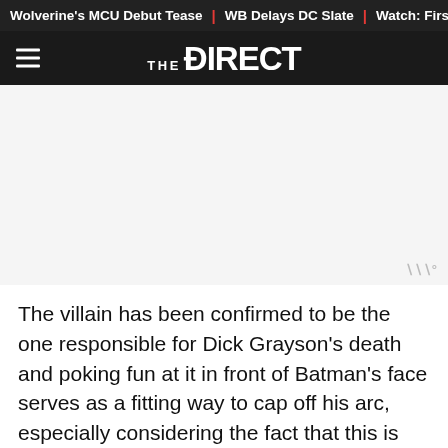Wolverine's MCU Debut Tease | WB Delays DC Slate | Watch: First
THE DIRECT
[Figure (other): Advertisement placeholder area with Moat ad label watermark in bottom right corner]
The villain has been confirmed to be the one responsible for Dick Grayson's death and poking fun at it in front of Batman's face serves as a fitting way to cap off his arc, especially considering the fact that this is potentially the final standoff between the two foes. As for